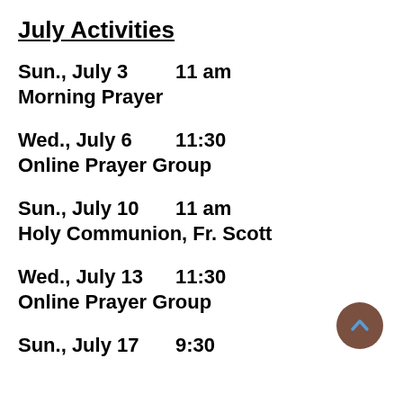July Activities
Sun., July 3       11 am
Morning Prayer
Wed., July 6       11:30
Online Prayer Group
Sun., July 10       11 am
Holy Communion, Fr. Scott
Wed., July 13       11:30
Online Prayer Group
Sun., July 17       9:30